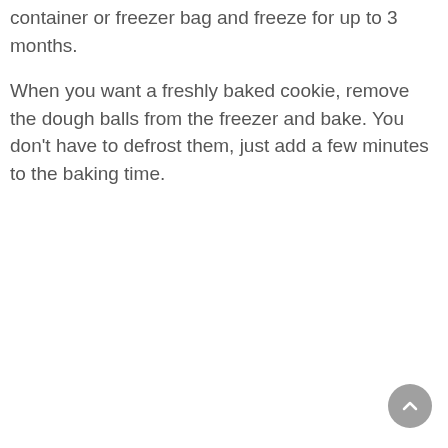container or freezer bag and freeze for up to 3 months.
When you want a freshly baked cookie, remove the dough balls from the freezer and bake. You don't have to defrost them, just add a few minutes to the baking time.